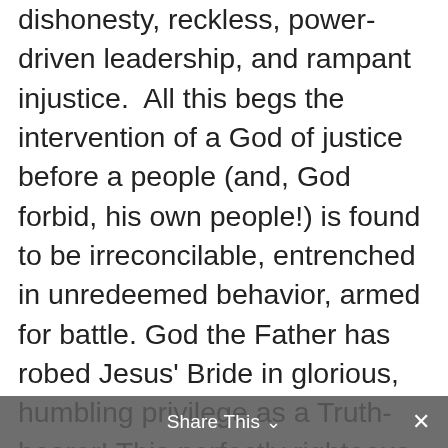dishonesty, reckless, power-driven leadership, and rampant injustice. All this begs the intervention of a God of justice before a people (and, God forbid, his own people!) is found to be irreconcilable, entrenched in unredeemed behavior, armed for battle. God the Father has robed Jesus' Bride in glorious, humbling privilege as a Truth-bearer! This perfectly righteous, unchanging Heavenly Father has bestowed on her everything needed for life and godliness (2 Peter 1:3). This verse clarifies not only the call to voice His justice, but in living in abundance within his high tower of grace and mercy and all-provision, the church is fully outfitted, fully justified, fully loved, to go and do the works he has prepared in advance. We, the Bride of Christ, have been Royally
Share This ∨  ✕